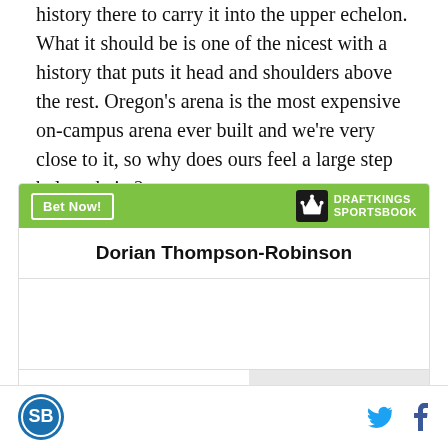history there to carry it into the upper echelon. What it should be is one of the nicest with a history that puts it head and shoulders above the rest. Oregon's arena is the most expensive on-campus arena ever built and we're very close to it, so why does ours feel a large step below theirs?
[Figure (other): DraftKings Sportsbook betting widget showing Dorian Thompson-Robinson with odds +8000 to win Heisman Trophy]
SB Nation logo, Twitter share icon, Facebook share icon